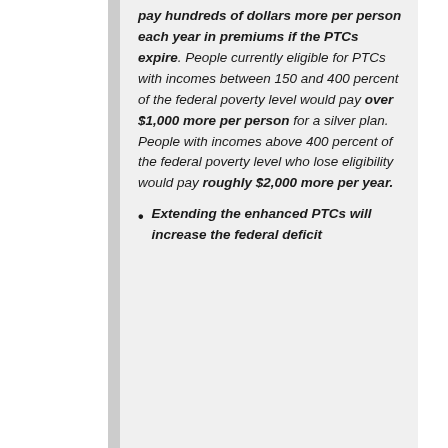pay hundreds of dollars more per person each year in premiums if the PTCs expire. People currently eligible for PTCs with incomes between 150 and 400 percent of the federal poverty level would pay over $1,000 more per person for a silver plan. People with incomes above 400 percent of the federal poverty level who lose eligibility would pay roughly $2,000 more per year.
Extending the enhanced PTCs will increase the federal deficit